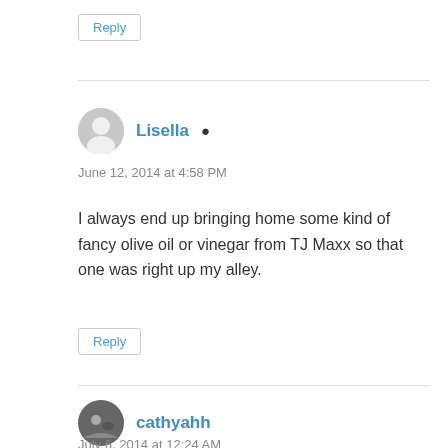Reply
Lisella
June 12, 2014 at 4:58 PM
I always end up bringing home some kind of fancy olive oil or vinegar from TJ Maxx so that one was right up my alley.
Reply
cathyahh
July 6, 2014 at 12:24 AM